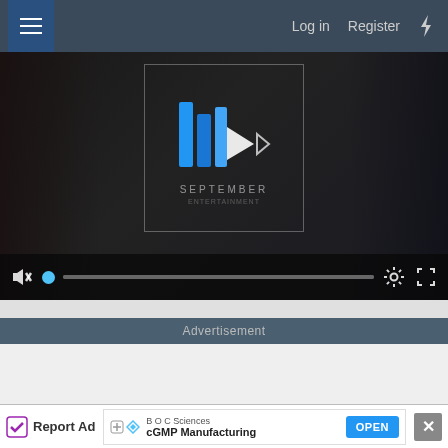Log in  Register
[Figure (screenshot): Video player showing a music/media player interface with a dark background showing people silhouettes, a logo with blue styling and the text SEPTEMBER, a play button overlay, and video controls at the bottom including a mute icon, progress bar with blue dot, settings gear icon, and fullscreen icon.]
Advertisement
[Figure (screenshot): Advertisement placeholder area with light gray background]
Report Ad
BOC Sciences
cGMP Manufacturing
OPEN